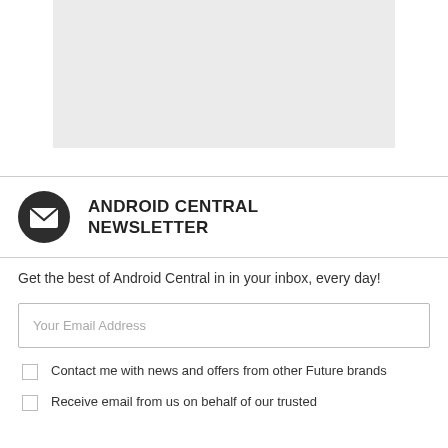[Figure (other): Gray placeholder image block at top of page]
ANDROID CENTRAL NEWSLETTER
Get the best of Android Central in in your inbox, every day!
Your Email Address
Contact me with news and offers from other Future brands
Receive email from us on behalf of our trusted